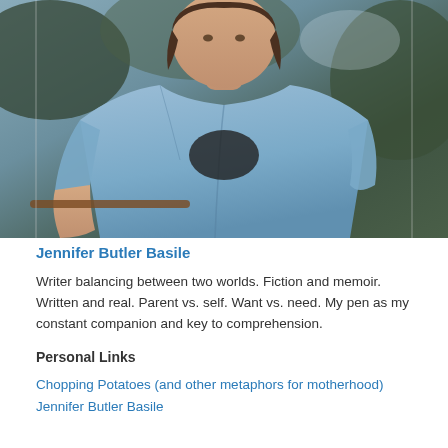[Figure (photo): Portrait photo of Jennifer Butler Basile, a woman wearing a light blue denim shirt over a black top, seated outdoors with green foliage in the background.]
Jennifer Butler Basile
Writer balancing between two worlds. Fiction and memoir. Written and real. Parent vs. self. Want vs. need. My pen as my constant companion and key to comprehension.
Personal Links
Chopping Potatoes (and other metaphors for motherhood)
Jennifer Butler Basile